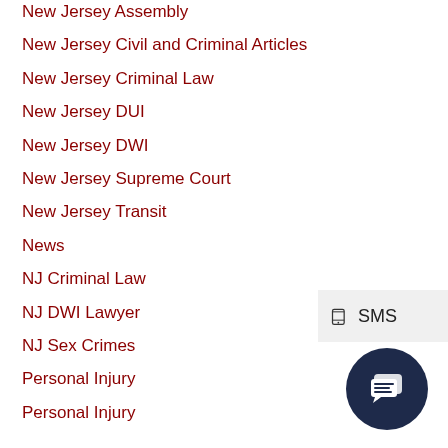New Jersey Assembly
New Jersey Civil and Criminal Articles
New Jersey Criminal Law
New Jersey DUI
New Jersey DWI
New Jersey Supreme Court
New Jersey Transit
News
NJ Criminal Law
NJ DWI Lawyer
NJ Sex Crimes
Personal Injury
Personal Injury
[Figure (screenshot): SMS widget button with phone icon and SMS label]
[Figure (screenshot): Dark navy circular chat bubble icon]